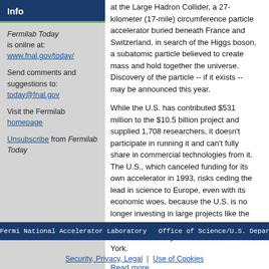Info
Fermilab Today is online at: www.fnal.gov/today/
Send comments and suggestions to: today@fnal.gov
Visit the Fermilab homepage
Unsubscribe from Fermilab Today
at the Large Hadron Collider, a 27-kilometer (17-mile) circumference particle accelerator buried beneath France and Switzerland, in search of the Higgs boson, a subatomic particle believed to create mass and hold together the universe. Discovery of the particle -- if it exists -- may be announced this year.
While the U.S. has contributed $531 million to the $10.5 billion project and supplied 1,708 researchers, it doesn't participate in running it and can't fully share in commercial technologies from it. The U.S., which canceled funding for its own accelerator in 1993, risks ceding the lead in science to Europe, even with its economic woes, because the U.S. is no longer investing in large projects like the collider, said Neil deGrasse Tyson, director of the Hayden Planetarium in New York.
Read more
Fermi National Accelerator Laboratory   Office of Science/U.S. Department of Energy
Security, Privacy, Legal  |  Use of Cookies